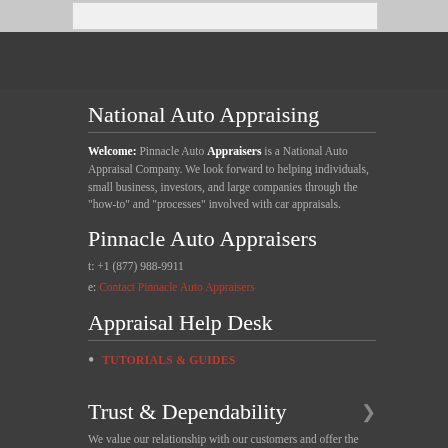National Auto Appraising
Welcome: Pinnacle Auto Appraisers is a National Auto Appraisal Company. We look forward to helping individuals, small business, investors, and large companies through the "how-to" and "processes" involved with car appraisals.
Pinnacle Auto Appraisers
t: +1 (877) 988-9911
e: Contact Pinnacle Auto Appraisers
Appraisal Help Desk
TUTORIALS & GUIDES
Trust & Dependability
We value our relationship with our customers and offer the most